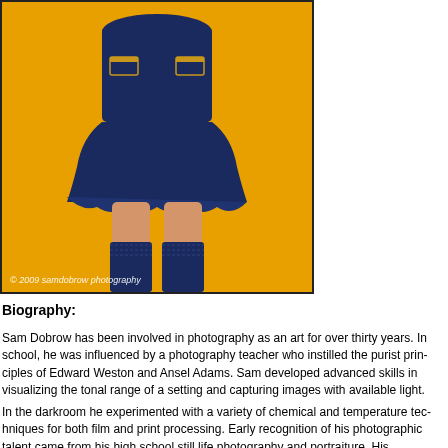[Figure (photo): A photograph of a person wearing a navy blue dress/outfit with gold trim pockets, navy blue lace stockings, against a bright golden/yellow background. Watermark reads: © 2009 samdobrow photography]
Biography:
Sam Dobrow has been involved in photography as an art for over thirty years. In school, he was influenced by a photography teacher who instilled the purist principles of Edward Weston and Ansel Adams. Sam developed advanced skills in visualizing the tonal range of a setting and capturing images with available light.
In the darkroom he experimented with a variety of chemical and temperature techniques for both film and print processing. Early recognition of his photographic talent came from his high school still life photography and portraiture. He is...